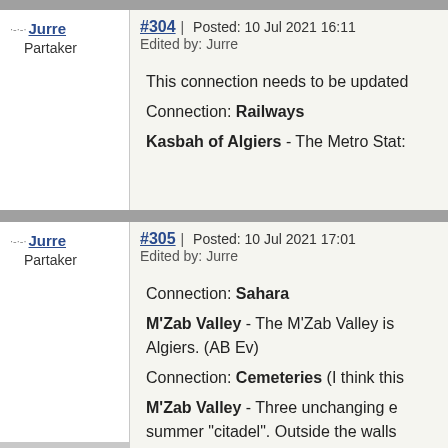#304 | Posted: 10 Jul 2021 16:11
Edited by: Jurre
Jurre
Partaker
This connection needs to be updated

Connection: Railways

Kasbah of Algiers - The Metro Stat...
#305 | Posted: 10 Jul 2021 17:01
Edited by: Jurre
Jurre
Partaker
Connection: Sahara

M'Zab Valley - The M'Zab Valley is... Algiers. (AB Ev)

Connection: Cemeteries (I think this...

M'Zab Valley - Three unchanging e... summer "citadel". Outside the walls... nondistinctive graves, only the tomb...